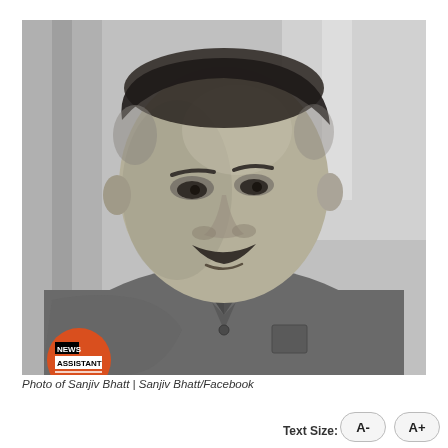[Figure (photo): Black and white portrait photograph of Sanjiv Bhatt, a middle-aged man with a mustache wearing a grey polo shirt, photographed indoors near a window. A News Assistant logo badge is overlaid in the bottom-left corner of the image.]
Photo of Sanjiv Bhatt | Sanjiv Bhatt/Facebook
Text Size:  A-  A+